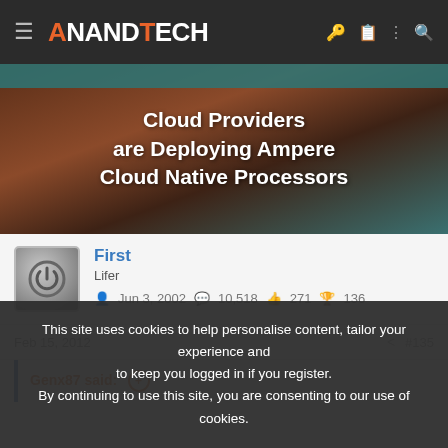AnandTech
[Figure (screenshot): AnandTech banner image showing 'Cloud Providers are Deploying Ampere Cloud Native Processors' with dark brown and teal background]
First
Lifer
Jun 3, 2002  10,518  271  136
Feb 15, 2012  #135
Genx87 said: ⊕
This site uses cookies to help personalise content, tailor your experience and to keep you logged in if you register.
By continuing to use this site, you are consenting to our use of cookies.